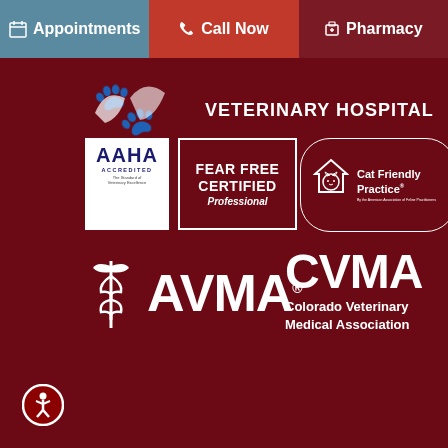Appointments   Call Now   Pharmacy
[Figure (logo): Partial veterinary hospital logo with animal silhouette and text VETERINARY HOSPITAL on dark red background]
[Figure (logo): AAHA Accredited - The Standard of Veterinary Excellence logo (white box)]
[Figure (logo): Fear Free Certified Professional logo (white border box)]
[Figure (logo): Cat Friendly Practice logo by the American Association of Feline Practitioners (rounded border)]
[Figure (logo): AVMA (American Veterinary Medical Association) logo with caduceus symbol]
[Figure (logo): CVMA Colorado Veterinary Medical Association logo]
[Figure (logo): Accessibility icon button (person in circle) in bottom left corner]